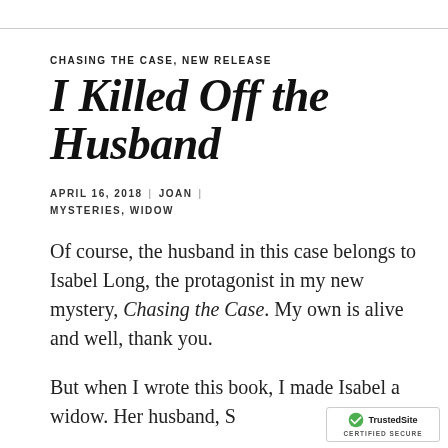CHASING THE CASE, NEW RELEASE
I Killed Off the Husband
APRIL 16, 2018 | JOAN | MYSTERIES, WIDOW
Of course, the husband in this case belongs to Isabel Long, the protagonist in my new mystery, Chasing the Case. My own is alive and well, thank you.
But when I wrote this book, I made Isabel a widow. Her husband, S...